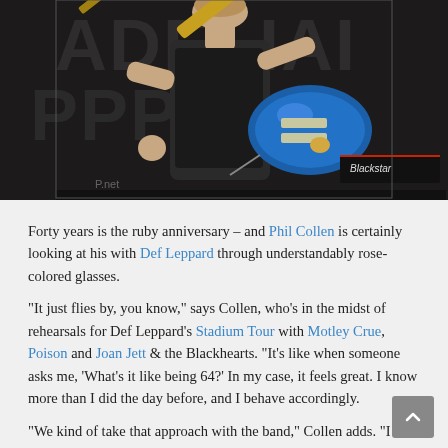[Figure (photo): Guitarist Phil Collen playing a blue electric guitar on stage, wearing a black sleeveless top, with Blackstar amplifier visible in the background and watermarked text in background.]
Forty years is the ruby anniversary – and Phil Collen is certainly looking at his with Def Leppard through understandably rose-colored glasses.
"It just flies by, you know," says Collen, who's in the midst of rehearsals for Def Leppard's Stadium Tour with Motley Crue, Poison and Joan Jett & the Blackhearts. "It's like when someone asks me, 'What's it like being 64?' In my case, it feels great. I know more than I did the day before, and I behave accordingly.
"We kind of take that approach with the band," Collen adds. "I